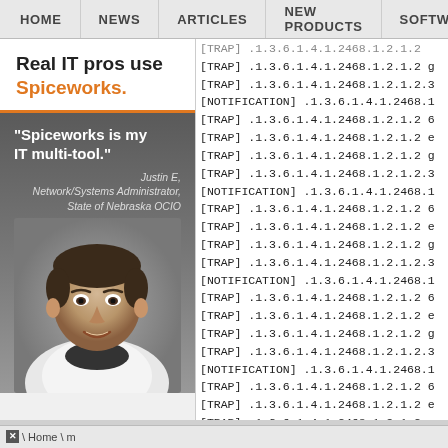HOME  NEWS  ARTICLES  NEW PRODUCTS  SOFTWARE
[Figure (advertisement): Spiceworks advertisement with text 'Real IT pros use Spiceworks.' and quote 'Spiceworks is my IT multi-tool.' attributed to Justin E, Network/Systems Administrator, State of Nebraska OCIO, with a photo of a man smiling]
[TRAP] .1.3.6.1.4.1.2468.1.2.1.2 g
[TRAP] .1.3.6.1.4.1.2468.1.2.1.2.3
[NOTIFICATION] .1.3.6.1.4.1.2468.1
[TRAP] .1.3.6.1.4.1.2468.1.2.1.2 6
[TRAP] .1.3.6.1.4.1.2468.1.2.1.2 e
[TRAP] .1.3.6.1.4.1.2468.1.2.1.2 g
[TRAP] .1.3.6.1.4.1.2468.1.2.1.2.3
[NOTIFICATION] .1.3.6.1.4.1.2468.1
[TRAP] .1.3.6.1.4.1.2468.1.2.1.2 6
[TRAP] .1.3.6.1.4.1.2468.1.2.1.2 e
[TRAP] .1.3.6.1.4.1.2468.1.2.1.2 g
[TRAP] .1.3.6.1.4.1.2468.1.2.1.2.3
[NOTIFICATION] .1.3.6.1.4.1.2468.1
[TRAP] .1.3.6.1.4.1.2468.1.2.1.2 6
[TRAP] .1.3.6.1.4.1.2468.1.2.1.2 e
[TRAP] .1.3.6.1.4.1.2468.1.2.1.2 g
[TRAP] .1.3.6.1.4.1.2468.1.2.1.2.3
[NOTIFICATION] .1.3.6.1.4.1.2468.1
[TRAP] .1.3.6.1.4.1.2468.1.2.1.2 6
[TRAP] .1.3.6.1.4.1.2468.1.2.1.2 e
[TRAP] .1.3.6.1.4.1.2468.1.2.1.2 g
[TRAP] .1.3.6.1.4.1.2468.1.2.1.2.3
[NOTIFICATION] .1.3.6.1.4.1.2468.1
[TRAP] .1.3.6.1.4.1.2468.1.2.1.2 6
[TRAP] .1.3.6.1.4.1.2468.1.2.1.2 e
⊠ \ Home \ m